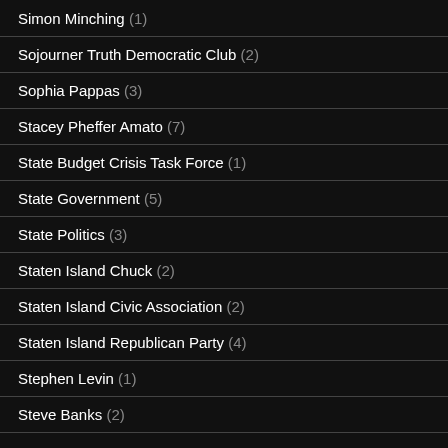Simon Minching (1)
Sojourner Truth Democratic Club (2)
Sophia Pappas (3)
Stacey Pheffer Amato (7)
State Budget Crisis Task Force (1)
State Government (5)
State Politics (3)
Staten Island Chuck (2)
Staten Island Civic Association (2)
Staten Island Republican Party (4)
Stephen Levin (1)
Steve Banks (2)